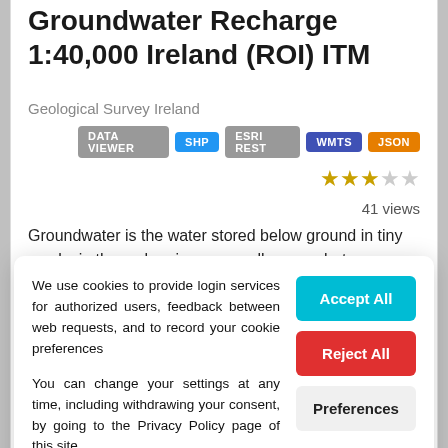Groundwater Recharge 1:40,000 Ireland (ROI) ITM
Geological Survey Ireland
DATA VIEWER  SHP  ESRI REST  WMTS  JSON
41 views
Groundwater is the water stored below ground in tiny cracks in the rock or in very small spaces between
We use cookies to provide login services for authorized users, feedback between web requests, and to record your cookie preferences

You can change your settings at any time, including withdrawing your consent, by going to the Privacy Policy page of this site.
Accept All
Reject All
Preferences
SHP  ESRI REST  DATA VIEWER